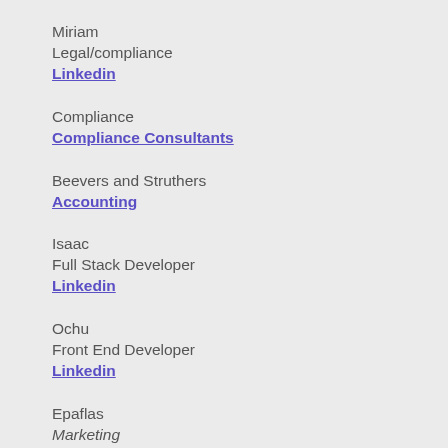Miriam
Legal/compliance
Linkedin
Compliance
Compliance Consultants
Beevers and Struthers
Accounting
Isaac
Full Stack Developer
Linkedin
Ochu
Front End Developer
Linkedin
Epaflas
Marketing
Linkedin